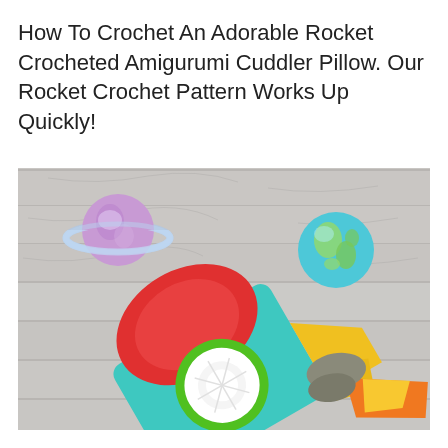How To Crochet An Adorable Rocket Crocheted Amigurumi Cuddler Pillow. Our Rocket Crochet Pattern Works Up Quickly!
[Figure (photo): A crocheted amigurumi rocket pillow in teal/turquoise with a red nose cone, circular window detail in green and white, yellow and orange fins, and gray wings, laid flat on a gray wood-plank surface. Decorative cutout illustrations of a purple ringed planet and a teal/green Earth planet are placed in the background.]